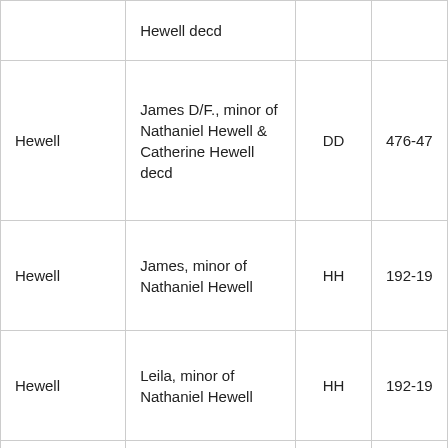|  | Hewell decd |  |  |
| Hewell | James D/F., minor of Nathaniel Hewell & Catherine Hewell decd | DD | 476-47 |
| Hewell | James, minor of Nathaniel Hewell | HH | 192-19 |
| Hewell | Leila, minor of Nathaniel Hewell | HH | 192-19 |
|  | Mary... |  |  |